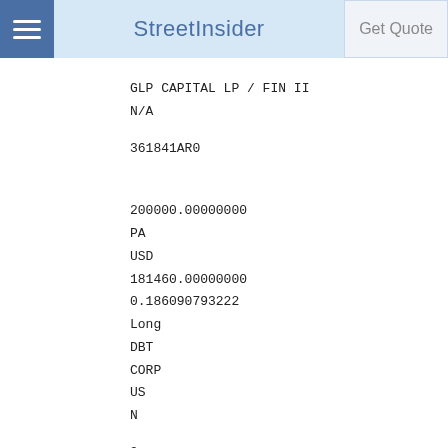StreetInsider
GLP CAPITAL LP / FIN II
N/A

361841AR0



200000.00000000
PA
USD
181460.00000000
0.186090793222
Long
DBT
CORP
US
N

2

    2032-01-15